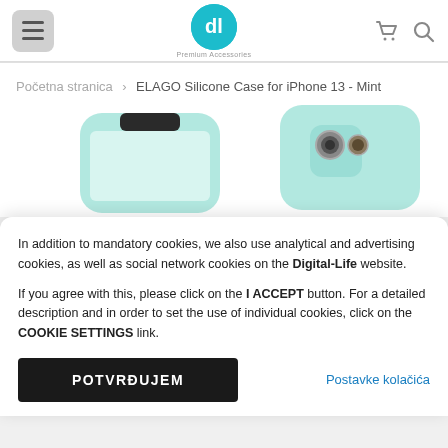Digital-Life Premium Accessories — Navigation header with hamburger menu, logo, cart and search icons
Početna stranica › ELAGO Silicone Case for iPhone 13 - Mint
[Figure (photo): Two mint-colored ELAGO silicone iPhone 13 cases shown from front and back angles]
In addition to mandatory cookies, we also use analytical and advertising cookies, as well as social network cookies on the Digital-Life website.

If you agree with this, please click on the I ACCEPT button. For a detailed description and in order to set the use of individual cookies, click on the COOKIE SETTINGS link.
POTVRĐUJEM
Postavke kolačića